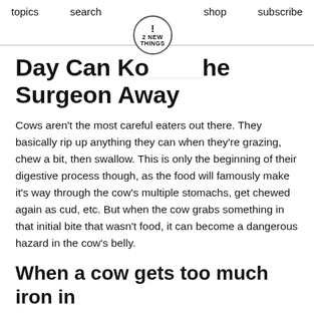topics   search   ! 2 NEW THINGS   shop   subscribe
Day Can Keep The Surgeon Away
Cows aren't the most careful eaters out there. They basically rip up anything they can when they're grazing, chew a bit, then swallow. This is only the beginning of their digestive process though, as the food will famously make it's way through the cow's multiple stomachs, get chewed again as cud, etc. But when the cow grabs something in that initial bite that wasn't food, it can become a dangerous hazard in the cow's belly.
When a cow gets too much iron in